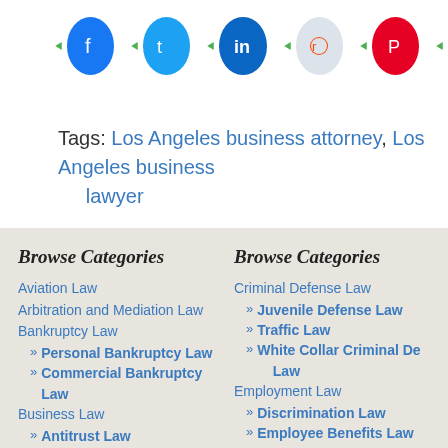[Figure (infographic): Social media sharing buttons row: Facebook (blue circle), Twitter (blue circle), LinkedIn (blue circle), Reddit (gray circle), Pinterest (red circle), with green arrow indicators]
Tags: Los Angeles business attorney, Los Angeles business lawyer
Browse Categories
Aviation Law
Arbitration and Mediation Law
Bankruptcy Law
» Personal Bankruptcy Law
» Commercial Bankruptcy Law
Business Law
» Antitrust Law
» Commercial Real Estate Law
» Commercial Litigation Law
Browse Categories
Criminal Defense Law
» Juvenile Defense Law
» Traffic Law
» White Collar Criminal Defense Law
Employment Law
» Discrimination Law
» Employee Benefits Law
» Harassment Law